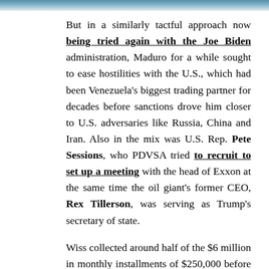[Figure (photo): Partial image strip at top of page showing what appears to be people, partially cropped]
But in a similarly tactful approach now being tried again with the Joe Biden administration, Maduro for a while sought to ease hostilities with the U.S., which had been Venezuela's biggest trading partner for decades before sanctions drove him closer to U.S. adversaries like Russia, China and Iran. Also in the mix was U.S. Rep. Pete Sessions, who PDVSA tried to recruit to set up a meeting with the head of Exxon at the same time the oil giant's former CEO, Rex Tillerson, was serving as Trump's secretary of state.
Wiss collected around half of the $6 million in monthly installments of $250,000 before being instructed, like Rivera, to bill PDVSA back in Caracas in April 2019, according to the